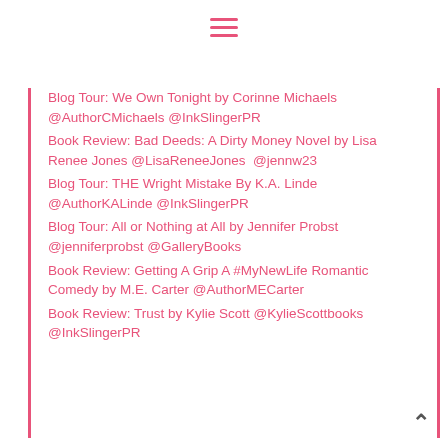Blog Tour: We Own Tonight by Corinne Michaels @AuthorCMichaels @InkSlingerPR
Book Review: Bad Deeds: A Dirty Money Novel by Lisa Renee Jones @LisaReneeJones  @jennw23
Blog Tour: THE Wright Mistake By K.A. Linde @AuthorKALinde @InkSlingerPR
Blog Tour: All or Nothing at All by Jennifer Probst @jenniferprobst @GalleryBooks
Book Review: Getting A Grip A #MyNewLife Romantic Comedy by M.E. Carter @AuthorMECarter
Book Review: Trust by Kylie Scott @KylieScottbooks @InkSlingerPR